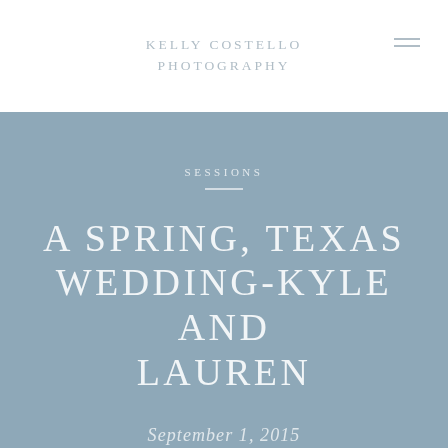KELLY COSTELLO PHOTOGRAPHY
SESSIONS
A SPRING, TEXAS WEDDING-KYLE AND LAUREN
September 1, 2015